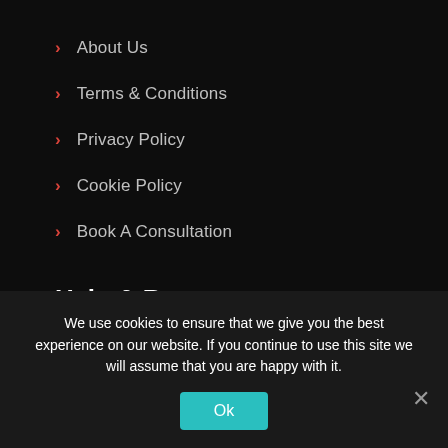About Us
Terms & Conditions
Privacy Policy
Cookie Policy
Book A Consultation
Help & Resources
LinkedIn
Sitemap
We use cookies to ensure that we give you the best experience on our website. If you continue to use this site we will assume that you are happy with it.
Ok